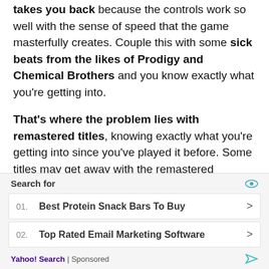takes you back because the controls work so well with the sense of speed that the game masterfully creates. Couple this with some sick beats from the likes of Prodigy and Chemical Brothers and you know exactly what you're getting into.

That's where the problem lies with remastered titles, knowing exactly what you're getting into since you've played it before. Some titles may get away with the remastered treatment and still net you hours and hours of gameplay (coughSKYRIMcough) but for certain genres, it
[Figure (other): Advertisement overlay: Yahoo Search sponsored ad block with 'Search for' header, two search results: '01. Best Protein Snack Bars To Buy' and '02. Top Rated Email Marketing Software', and footer 'Yahoo! Search | Sponsored']